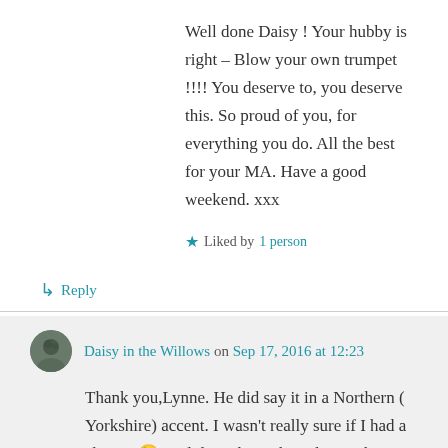Well done Daisy ! Your hubby is right – Blow your own trumpet !!!! You deserve to, you deserve this. So proud of you, for everything you do. All the best for your MA. Have a good weekend. xxx
★ Liked by 1 person
↳ Reply
Daisy in the Willows on Sep 17, 2016 at 12:23
Thank you,Lynne. He did say it in a Northern ( Yorkshire) accent. I wasn't really sure if I had a choice. 😉 I I didn't take on his advice who knows what sort of trouble I would be in. It took me a looooooooooong